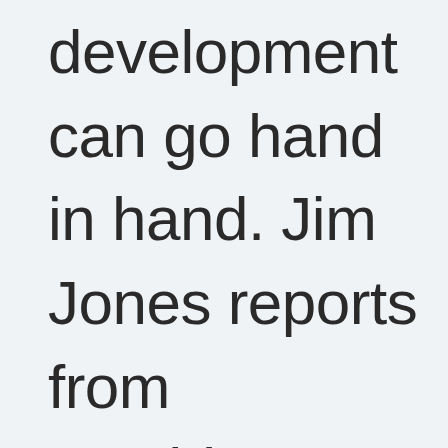development can go hand in hand. Jim Jones reports from Washington, DC. (03:00)